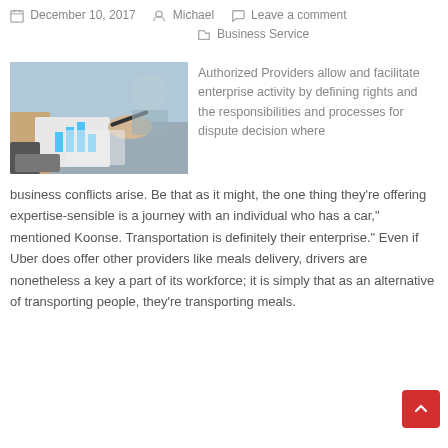December 10, 2017   Michael   Leave a comment   Business Service
[Figure (photo): Two people at a business meeting table looking at documents with a bar chart, hands visible, calculator in background]
Authorized Providers allow and facilitate enterprise activity by defining rights and the responsibilities and processes for dispute decision where business conflicts arise. Be that as it might, the one thing they're offering expertise-sensible is a journey with an individual who has a car," mentioned Koonse. Transportation is definitely their enterprise." Even if Uber does offer other providers like meals delivery, drivers are nonetheless a key a part of its workforce; it is simply that as an alternative of transporting people, they're transporting meals.